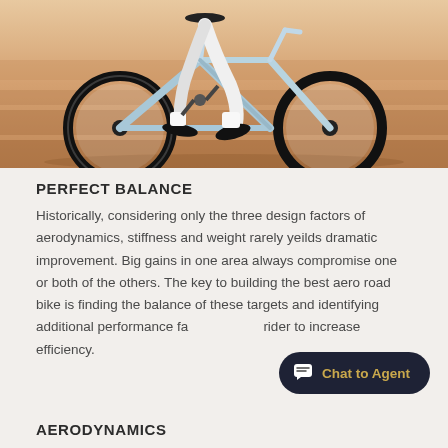[Figure (photo): A cyclist riding a light blue/white road bike, captured in motion with a warm blurred background. Only the lower torso, legs, and bike are visible.]
PERFECT BALANCE
Historically, considering only the three design factors of aerodynamics, stiffness and weight rarely yeilds dramatic improvement. Big gains in one area always compromise one or both of the others. The key to building the best aero road bike is finding the balance of these targets and identifying additional performance factors for the rider to increase efficiency.
AERODYNAMICS